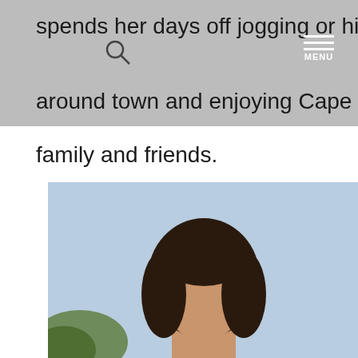spends her days off jogging or hiking local trails, biking around town and enjoying Cape May beaches with her family and friends.
family and friends.
[Figure (photo): Portrait photo of a woman with dark hair outdoors against a light blue sky with some green foliage visible]
[Figure (illustration): Social media icons: Facebook, Instagram, LinkedIn, YouTube arranged vertically in circular buttons]